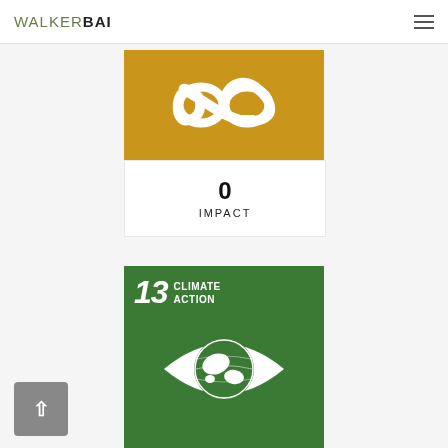WALKERBAI
[Figure (logo): Golden/amber colored square with white infinity loop/recycling symbol]
0
IMPACT
[Figure (logo): UN SDG Goal 13 Climate Action badge: green square with '13 CLIMATE ACTION' text and white eye-with-globe icon]